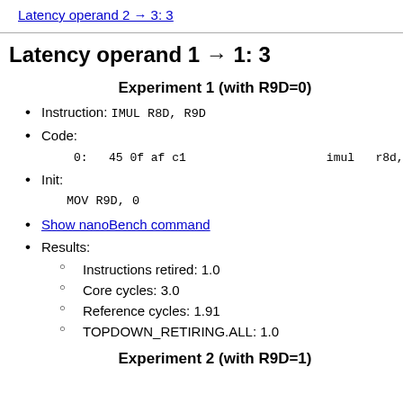Latency operand 2 → 3: 3
Latency operand 1 → 1: 3
Experiment 1 (with R9D=0)
Instruction: IMUL R8D, R9D
Code:
0:   45 0f af c1                    imul   r8d,r9
Init:
MOV R9D, 0
Show nanoBench command
Results:
Instructions retired: 1.0
Core cycles: 3.0
Reference cycles: 1.91
TOPDOWN_RETIRING.ALL: 1.0
Experiment 2 (with R9D=1)